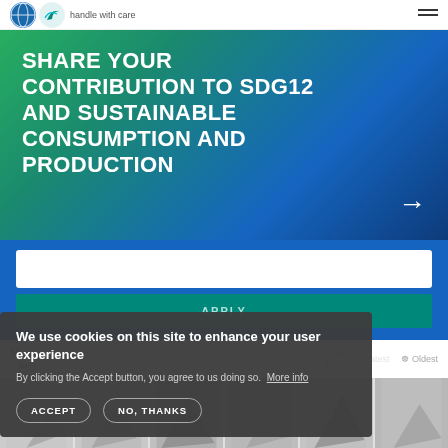handle with care
SHARE YOUR CONTRIBUTION TO SDG12 AND SUSTAINABLE CONSUMPTION AND PRODUCTION
APPLY
Showing 1–12 of 20 results
Sort by:
Latest
Oldest
[Figure (screenshot): Cookie consent overlay with ACCEPT and NO, THANKS buttons]
We use cookies on this site to enhance your user experience
By clicking the Accept button, you agree to us doing so. More info
ACCEPT
NO, THANKS